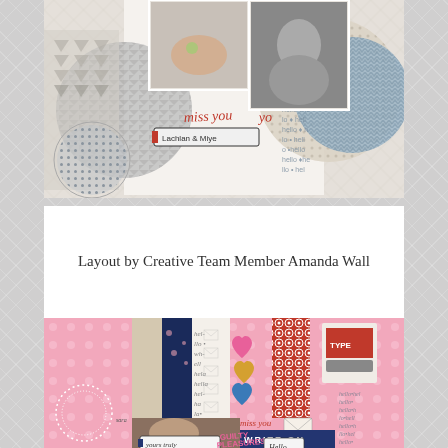[Figure (photo): Scrapbook layout showing photos, patterned papers, hearts, decorative elements with text 'miss you', 'Lachlan & Miye', on light beige background]
Layout by Creative Team Member Amanda Wall
[Figure (photo): Scrapbook layout on pink polka dot background with hearts, typewriter elements, 'WRITE ON', 'miss you', 'yours truly', 'Hello', 'GUILTY PLEASURES' text, photo of child writing]